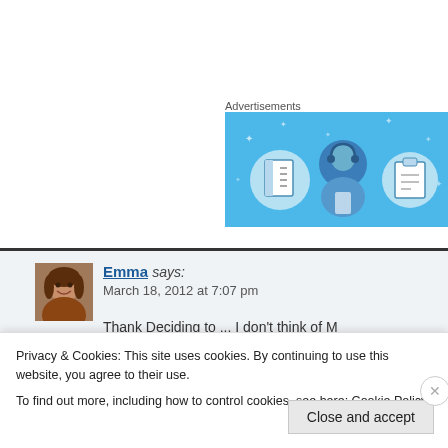Advertisements
[Figure (illustration): Blue advertisement banner with illustrated icons of a notebook, a person wearing headphones, and a clipboard/list on a light blue background with sparkle/star decorations]
[Figure (photo): Small avatar photo of a woman with brown hair, smiling]
Emma says: March 18, 2012 at 7:07 pm
Thank Deciding to... I don't think of M
Privacy & Cookies: This site uses cookies. By continuing to use this website, you agree to their use.
To find out more, including how to control cookies, see here: Cookie Policy
Close and accept